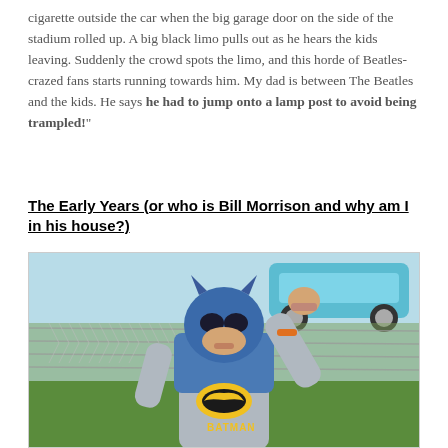cigarette outside the car when the big garage door on the side of the stadium rolled up. A big black limo pulls out as he hears the kids leaving. Suddenly the crowd spots the limo, and this horde of Beatles-crazed fans starts running towards him. My dad is between The Beatles and the kids. He says he had to jump onto a lamp post to avoid being trampled!"
The Early Years (or who is Bill Morrison and why am I in his house?)
[Figure (photo): A child dressed in a Batman costume (blue mask, blue and grey suit with Batman logo on chest) standing outdoors near a chain-link fence, raising one fist in the air. A vintage car is visible in the background. The image has an old, slightly faded color photograph quality.]